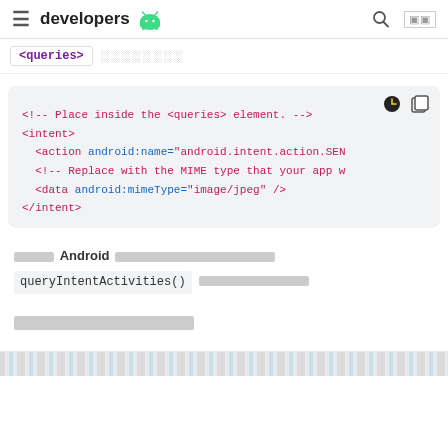developers (android logo)
<queries> ░░░░░░░░
[Figure (screenshot): Code block showing XML snippet: <!-- Place inside the <queries> element. --> <intent> <action android:name="android.intent.action.SEN... <!-- Replace with the MIME type that your app w... <data android:mimeType="image/jpeg" /> </intent>]
░░░░░ Android ░░░░░░░░░░░░░░░░░░░░░░░░░░░ queryIntentActivities() ░░░░░░░░░░░
░░░░░░░░░░░░░░
[Figure (other): Bottom repeating pattern strip]